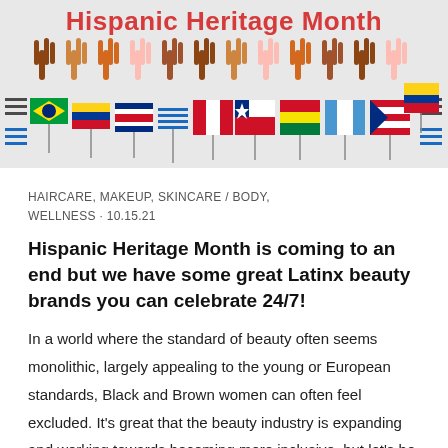[Figure (illustration): Hispanic Heritage Month banner with colorful title text in red, raised hands of different skin tones, and international flags including Brazil, Colombia, Costa Rica, Peru, Chile, Bolivia, Guatemala, Puerto Rico, Dominican Republic, and others on a light gray background.]
HAIRCARE, MAKEUP, SKINCARE / BODY, WELLNESS · 10.15.21
Hispanic Heritage Month is coming to an end but we have some great Latinx beauty brands you can celebrate 24/7!
In a world where the standard of beauty often seems monolithic, largely appealing to the young or European standards, Black and Brown women can often feel excluded. It's great that the beauty industry is expanding and working towards becoming more inclusive, but let's be real, we still